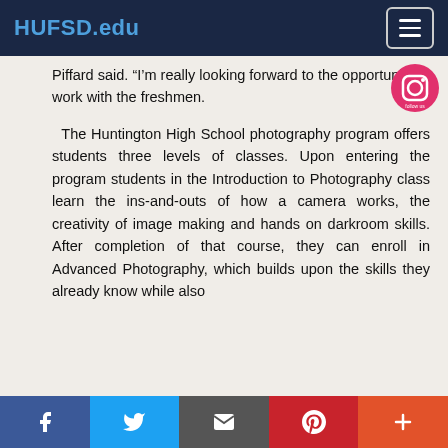HUFSD.edu
Piffard said. “I’m really looking forward to the opportunity to work with the freshmen.
The Huntington High School photography program offers students three levels of classes. Upon entering the program students in the Introduction to Photography class learn the ins-and-outs of how a camera works, the creativity of image making and hands on darkroom skills. After completion of that course, they can enroll in Advanced Photography, which builds upon the skills they already know while also
Facebook | Twitter | Email | Pinterest | More